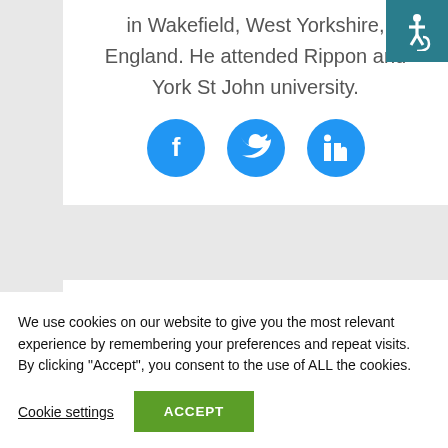in Wakefield, West Yorkshire, England. He attended Rippon and York St John university.
[Figure (illustration): Three blue circular social media icons: Facebook (f), Twitter (bird), LinkedIn (in)]
[Figure (other): Accessibility icon in teal square, top right corner]
[Figure (other): White card with dark/black rectangular bar element inside]
We use cookies on our website to give you the most relevant experience by remembering your preferences and repeat visits. By clicking “Accept”, you consent to the use of ALL the cookies.
Cookie settings
ACCEPT